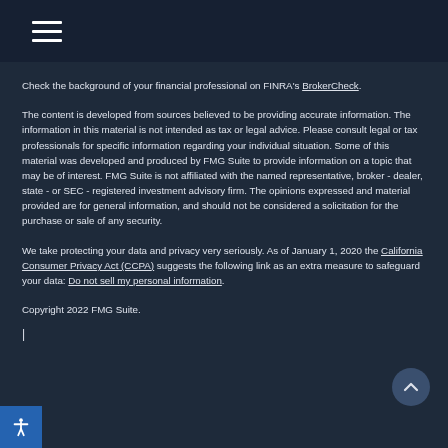Navigation menu
Check the background of your financial professional on FINRA's BrokerCheck.
The content is developed from sources believed to be providing accurate information. The information in this material is not intended as tax or legal advice. Please consult legal or tax professionals for specific information regarding your individual situation. Some of this material was developed and produced by FMG Suite to provide information on a topic that may be of interest. FMG Suite is not affiliated with the named representative, broker - dealer, state - or SEC - registered investment advisory firm. The opinions expressed and material provided are for general information, and should not be considered a solicitation for the purchase or sale of any security.
We take protecting your data and privacy very seriously. As of January 1, 2020 the California Consumer Privacy Act (CCPA) suggests the following link as an extra measure to safeguard your data: Do not sell my personal information.
Copyright 2022 FMG Suite.
|